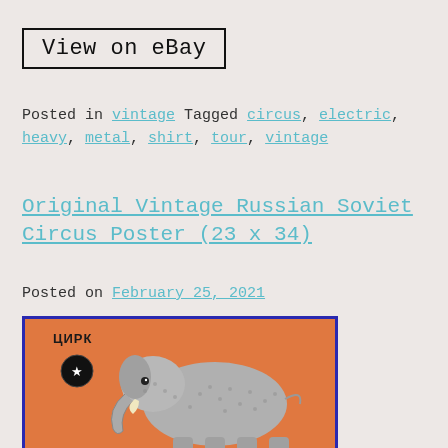View on eBay
Posted in vintage Tagged circus, electric, heavy, metal, shirt, tour, vintage
Original Vintage Russian Soviet Circus Poster (23 x 34)
Posted on February 25, 2021
[Figure (photo): Soviet circus poster with an illustrated elephant on an orange background, with Cyrillic text ЦИРК at top left and a circular emblem.]